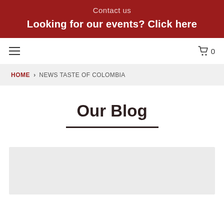Contact us
Looking for our events? Click here
≡   🛒 0
HOME > NEWS TASTE OF COLOMBIA
Our Blog
[Figure (photo): Gray placeholder image for a blog card]